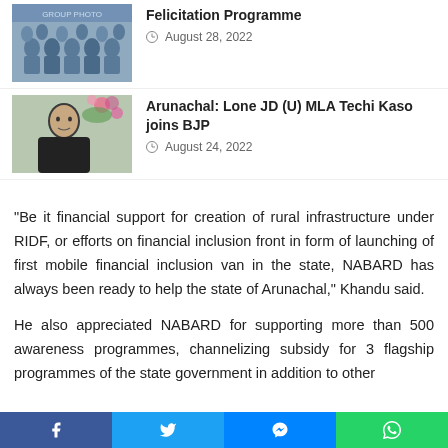[Figure (photo): Group photo thumbnail - students or people with certificates]
Felicitation Programme
August 28, 2022
[Figure (photo): Headshot of a man (Techi Kaso) outdoors with flowers in background]
Arunachal: Lone JD (U) MLA Techi Kaso joins BJP
August 24, 2022
“Be it financial support for creation of rural infrastructure under RIDF, or efforts on financial inclusion front in form of launching of first mobile financial inclusion van in the state, NABARD has always been ready to help the state of Arunachal,” Khandu said.
He also appreciated NABARD for supporting more than 500 awareness programmes, channelizing subsidy for 3 flagship programmes of the state government in addition to other
Facebook  Twitter  Messenger  WhatsApp